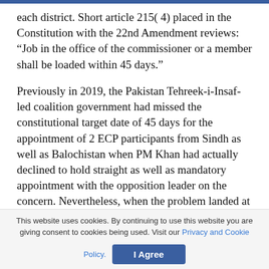each district. Short article 215( 4) placed in the Constitution with the 22nd Amendment reviews: “Job in the office of the commissioner or a member shall be loaded within 45 days.”
Previously in 2019, the Pakistan Tehreek-i-Insaf-led coalition government had missed the constitutional target date of 45 days for the appointment of 2 ECP participants from Sindh as well as Balochistan when PM Khan had actually declined to hold straight as well as mandatory appointment with the opposition leader on the concern. Nevertheless, when the problem landed at the Islamabad High Court, the head of state spoke with Mr Sharif with...
This website uses cookies. By continuing to use this website you are giving consent to cookies being used. Visit our Privacy and Cookie Policy.